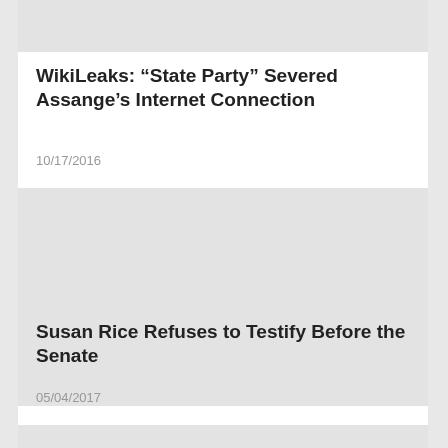[Figure (photo): Gray placeholder image at top of page]
WikiLeaks: “State Party” Severed Assange’s Internet Connection
10/17/2016
[Figure (photo): Gray placeholder image in middle of page]
Susan Rice Refuses to Testify Before the Senate
05/04/2017
[Figure (photo): Gray placeholder image at bottom of page]